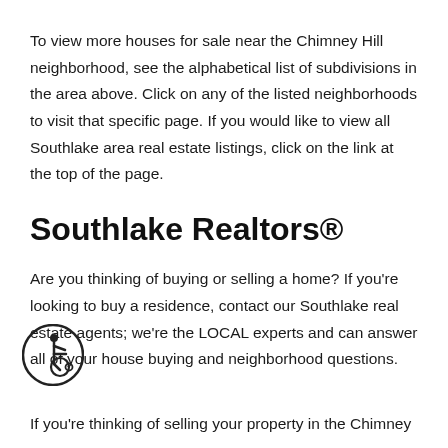To view more houses for sale near the Chimney Hill neighborhood, see the alphabetical list of subdivisions in the area above. Click on any of the listed neighborhoods to visit that specific page. If you would like to view all Southlake area real estate listings, click on the link at the top of the page.
Southlake Realtors®
Are you thinking of buying or selling a home? If you're looking to buy a residence, contact our Southlake real estate agents; we're the LOCAL experts and can answer all of your house buying and neighborhood questions.
[Figure (illustration): Accessibility icon — circular badge with wheelchair user symbol]
If you're thinking of selling your property in the Chimney